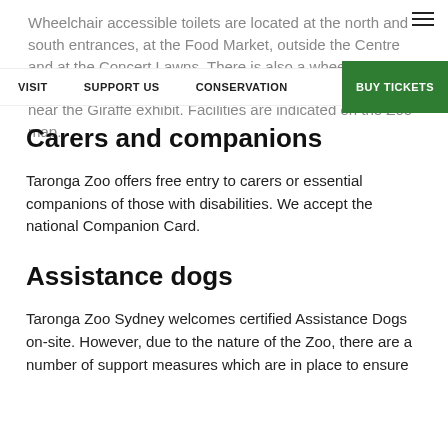Wheelchair accessible toilets are located at the north and south entrances, at the Food Market, outside the Centre and at the Concert Lawns. There is also a wheelchair accessible bathroom at Parents Change Room located near the Giraffe exhibit. Facilities are indicated on the Zoo map.
VISIT  SUPPORT US  CONSERVATION  BUY TICKETS
Carers and companions
Taronga Zoo offers free entry to carers or essential companions of those with disabilities. We accept the national Companion Card.
Assistance dogs
Taronga Zoo Sydney welcomes certified Assistance Dogs on-site. However, due to the nature of the Zoo, there are a number of support measures which are in place to ensure